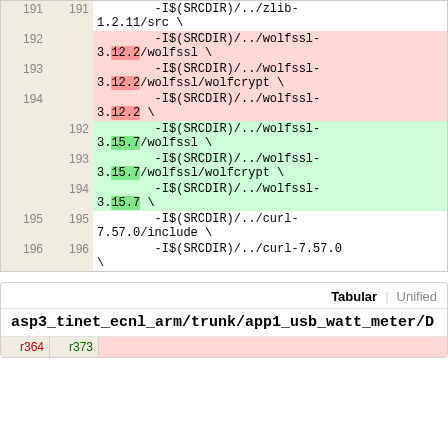| old line | new line | code |
| --- | --- | --- |
| 191 | 191 | -I$(SRCDIR)/../zlib-1.2.11/src \ |
| 192 |  | -I$(SRCDIR)/../wolfssl-3.12.2/wolfssl \ |
| 193 |  | -I$(SRCDIR)/../wolfssl-3.12.2/wolfssl/wolfcrypt \ |
| 194 |  | -I$(SRCDIR)/../wolfssl-3.12.2 \ |
|  | 192 | -I$(SRCDIR)/../wolfssl-3.15.7/wolfssl \ |
|  | 193 | -I$(SRCDIR)/../wolfssl-3.15.7/wolfssl/wolfcrypt \ |
|  | 194 | -I$(SRCDIR)/../wolfssl-3.15.7 \ |
| 195 | 195 | -I$(SRCDIR)/../curl-7.57.0/include \ |
| 196 | 196 | -I$(SRCDIR)/../curl-7.57.0 \ |
Tabular | Unified
asp3_tinet_ecnl_arm/trunk/app1_usb_watt_meter/D
| r364 | r373 |
| --- | --- |